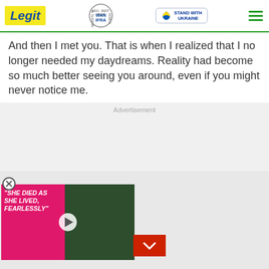Legit | WAN IFRA 2021 Best News Website in Africa | Stand With Ukraine
And then I met you. That is when I realized that I no longer needed my daydreams. Reality had become so much better seeing you around, even if you might never notice me.
Advertisement
[Figure (screenshot): Video thumbnail showing a man in a suit beside a woman in dark dress against a green hedge background, with pink overlay and quote text: "SHE DIED AS SHE LIVED, FEARLESSLY" and a play button in the center, minimize chevron button at bottom right]